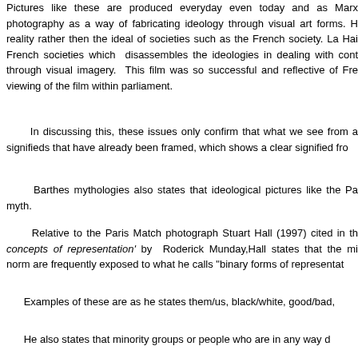Pictures like these are produced everyday even today and as Marx photography as a way of fabricating ideology through visual art forms. H reality rather then the ideal of societies such as the French society. La Hai French societies which disassembles the ideologies in dealing with cont through visual imagery. This film was so successful and reflective of Fre viewing of the film within parliament.
In discussing this, these issues only confirm that what we see from a signifieds that have already been framed, which shows a clear signified fro
Barthes mythologies also states that ideological pictures like the Pa myth.
Relative to the Paris Match photograph Stuart Hall (1997) cited in th concepts of representation' by Roderick Munday,Hall states that the mi norm are frequently exposed to what he calls "binary forms of representat
Examples of these are as he states them/us, black/white, good/bad,
He also states that minority groups or people who are in any way d